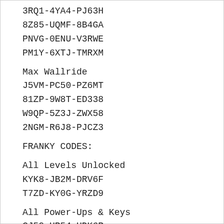3RQ1-4YA4-PJ63H
8Z85-UQMF-8B4GA
PNVG-0ENU-V3RWE
PM1Y-6XTJ-TMRXM
Max Wallride
J5VM-PC50-PZ6MT
81ZP-9W8T-ED338
W9QP-5Z3J-ZWX58
2NGM-R6J8-PJCZ3
FRANKY CODES:
All Levels Unlocked
KYK8-JB2M-DRV6F
T7ZD-KY0G-YRZD9
All Power-Ups & Keys
CJ59-UP54-UDK6R
Q2NR-E41D-GEK9K
All Tricks